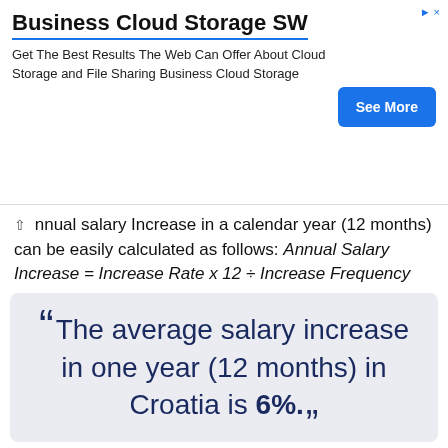[Figure (other): Advertisement banner: 'Business Cloud Storage SW' with subtitle 'Get The Best Results The Web Can Offer About Cloud Storage and File Sharing Business Cloud Storage' and a blue 'See More' button]
Annual salary Increase in a calendar year (12 months) can be easily calculated as follows: Annual Salary Increase = Increase Rate x 12 ÷ Increase Frequency
“The average salary increase in one year (12 months) in Croatia is 6%.”